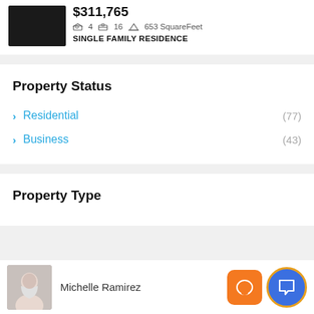$311,765  4  16  653 SquareFeet
SINGLE FAMILY RESIDENCE
Property Status
Residential (77)
Business (43)
Property Type
Michelle Ramirez